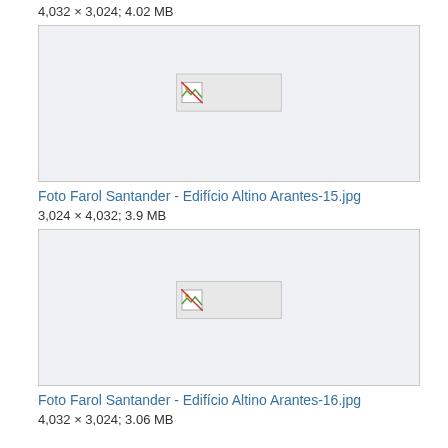4,032 × 3,024; 4.02 MB
[Figure (photo): Broken image placeholder box for Foto Farol Santander - Edifício Altino Arantes-15.jpg]
Foto Farol Santander - Edifício Altino Arantes-15.jpg
3,024 × 4,032; 3.9 MB
[Figure (photo): Broken image placeholder box for Foto Farol Santander - Edifício Altino Arantes-16.jpg]
Foto Farol Santander - Edifício Altino Arantes-16.jpg
4,032 × 3,024; 3.06 MB